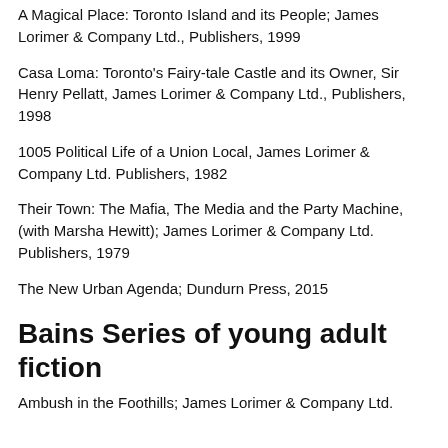A Magical Place: Toronto Island and its People; James Lorimer & Company Ltd., Publishers, 1999
Casa Loma: Toronto's Fairy-tale Castle and its Owner, Sir Henry Pellatt, James Lorimer & Company Ltd., Publishers, 1998
1005 Political Life of a Union Local, James Lorimer & Company Ltd. Publishers, 1982
Their Town: The Mafia, The Media and the Party Machine, (with Marsha Hewitt); James Lorimer & Company Ltd. Publishers, 1979
The New Urban Agenda; Dundurn Press, 2015
Bains Series of young adult fiction
Ambush in the Foothills; James Lorimer & Company Ltd.